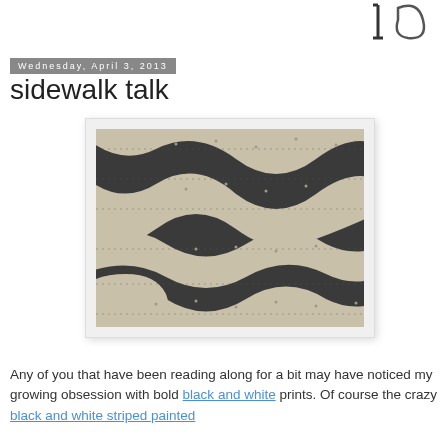[Figure (logo): Partial blog logo/header with stylized letters visible at top right]
Wednesday, April 3, 2013
sidewalk talk
[Figure (photo): Black and white wavy cobblestone mosaic sidewalk pattern, viewed from above at an angle, with organic wave/swirl shapes in contrasting dark and light stones.]
Any of you that have been reading along for a bit may have noticed my growing obsession with bold black and white prints. Of course the crazy black and white striped painted